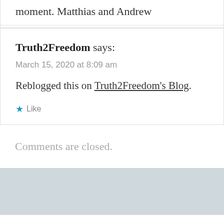moment. Matthias and Andrew
Truth2Freedom says:
March 15, 2020 at 8:09 am
Reblogged this on Truth2Freedom's Blog.
Like
Comments are closed.